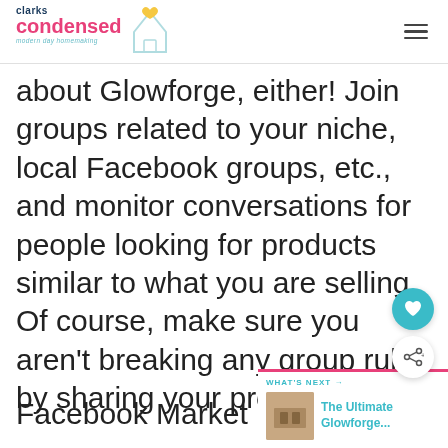clarks condensed — modern day homemaking
about Glowforge, either! Join groups related to your niche, local Facebook groups, etc., and monitor conversations for people looking for products similar to what you are selling. Of course, make sure you aren't breaking any group rules by sharing your projects!
Facebook Marketplace is an easy place to